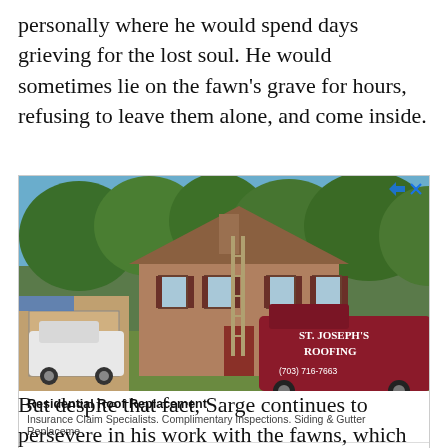personally where he would spend days grieving for the lost soul. He would sometimes lie on the fawn's grave for hours, refusing to leave them alone, and come inside.
[Figure (photo): Photo of a brick colonial house with a roofing crew working on the roof. A white pickup truck and a dark red van labeled 'St. Joseph's Roofing (703) 716-7663' are parked in the driveway. Trees are visible in the background.]
Residential Roof Replacement
Insurance Claim Specialists. Complimentary Inspections. Siding & Gutter Replaceme
St Joseph's Roofing    Get Quote >
But despite that fact, Sarge continues to persevere in his work with the fawns, which he loves what he does. They are also met with the same love and enthusiasm as